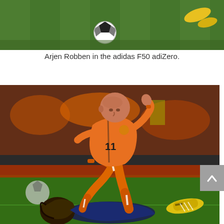[Figure (photo): Top portion of a soccer/football action photo showing a green grass pitch with a soccer ball visible and yellow boots in the upper right corner.]
Arjen Robben in the adidas F50 adiZero.
[Figure (photo): Soccer player Arjen Robben wearing an orange Netherlands kit with number 11, jumping over a fallen opponent (Carles Puyol) who is wearing a dark navy Spain kit with yellow boots. Action photo taken during a football match.]